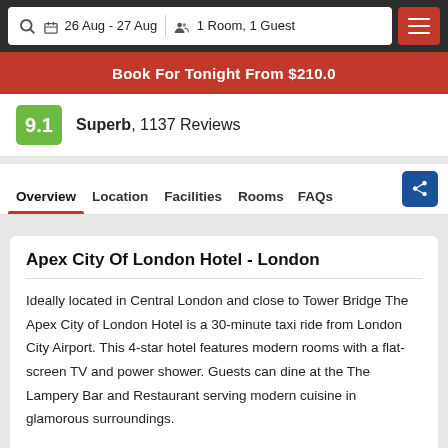26 Aug - 27 Aug  1 Room, 1 Guest
Book For Tonight From $210.0
9.1  Superb,  1137 Reviews
Overview  Location  Facilities  Rooms  FAQs
Apex City Of London Hotel - London
Ideally located in Central London and close to Tower Bridge The Apex City of London Hotel is a 30-minute taxi ride from London City Airport. This 4-star hotel features modern rooms with a flat-screen TV and power shower. Guests can dine at the The Lampery Bar and Restaurant serving modern cuisine in glamorous surroundings.
This deluxe hotel has 3 conference suites and a Techno